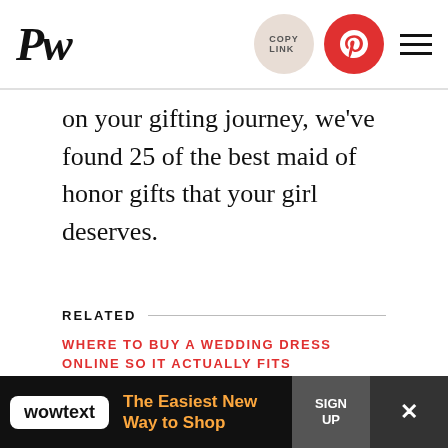PW — Copy Link, Pinterest, Menu
on your gifting journey, we've found 25 of the best maid of honor gifts that your girl deserves.
RELATED
WHERE TO BUY A WEDDING DRESS ONLINE SO IT ACTUALLY FITS
ADVERTISEMENT
[Figure (other): Pink advertisement banner with text: "OMG, this is so me." with a close button]
[Figure (other): Wowtext advertisement banner: The Easiest New Way to Shop, with Sign Up button]